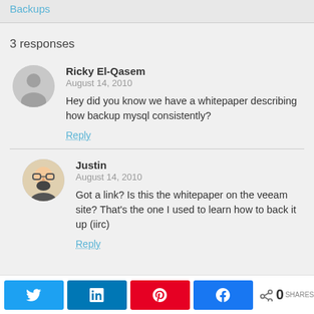Backups
3 responses
Ricky El-Qasem
August 14, 2010
Hey did you know we have a whitepaper describing how backup mysql consistently?
Reply
Justin
August 14, 2010
Got a link? Is this the whitepaper on the veeam site? That's the one I used to learn how to back it up (iirc)
Reply